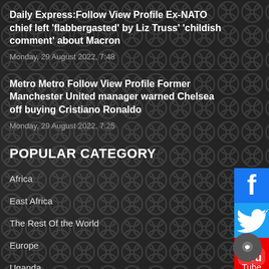Daily Express:Follow View Profile Ex-NATO chief left ‘flabbergasted’ by Liz Truss’ ‘childish comment’ about Macron
Monday, 29 August 2022, 7:48
Metro Metro Follow View Profile Former Manchester United manager warned Chelsea off buying Cristiano Ronaldo
Monday, 29 August 2022, 7:25
POPULAR CATEGORY
Africa 46
East Africa 3805
The Rest Of the World 3058
Europe 2958
Uganda 27